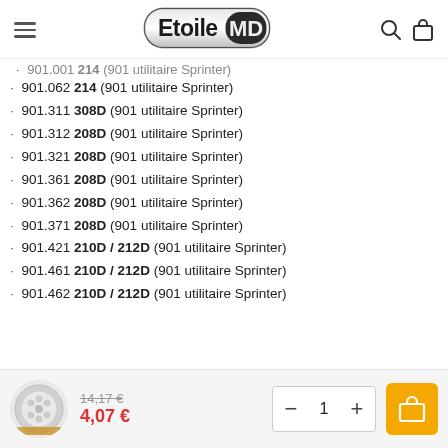Etoile MD
901.001 214 (901 utilitaire Sprinter)
901.062 214 (901 utilitaire Sprinter)
901.311 308D (901 utilitaire Sprinter)
901.312 208D (901 utilitaire Sprinter)
901.321 208D (901 utilitaire Sprinter)
901.361 208D (901 utilitaire Sprinter)
901.362 208D (901 utilitaire Sprinter)
901.371 208D (901 utilitaire Sprinter)
901.421 210D / 212D (901 utilitaire Sprinter)
901.461 210D / 212D (901 utilitaire Sprinter)
901.462 210D / 212D (901 utilitaire Sprinter)
14,17 € strikethrough / 4,07 €  qty: 1